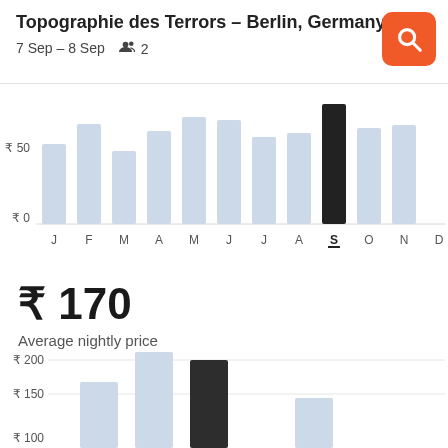Topographie des Terrors – Berlin, Germany
7 Sep – 8 Sep   👥 2
[Figure (bar-chart): Monthly price chart]
₹ 170
Average nightly price
[Figure (bar-chart): Weekly price chart]